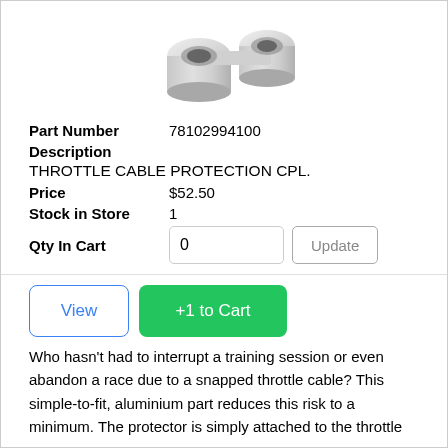[Figure (photo): Product photo of a throttle cable protection coupler, silver/grey metallic cylindrical part, viewed from above at an angle.]
Part Number   78102994100
Description
THROTTLE CABLE PROTECTION CPL.
Price   $52.50
Stock in Store   1
Qty In Cart   0   Update
View   +1 to Cart
Who hasn't had to interrupt a training session or even abandon a race due to a snapped throttle cable? This simple-to-fit, aluminium part reduces this risk to a minimum. The protector is simply attached to the throttle